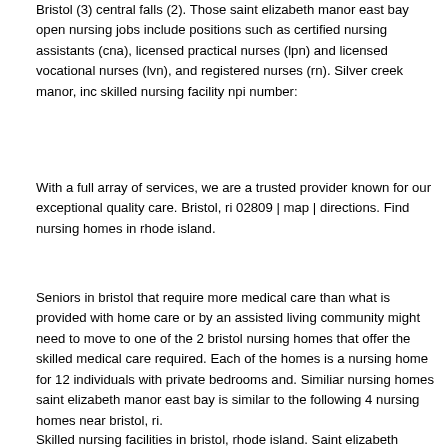Bristol (3) central falls (2). Those saint elizabeth manor east bay open nursing jobs include positions such as certified nursing assistants (cna), licensed practical nurses (lpn) and licensed vocational nurses (lvn), and registered nurses (rn). Silver creek manor, inc skilled nursing facility npi number:
With a full array of services, we are a trusted provider known for our exceptional quality care. Bristol, ri 02809 | map | directions. Find nursing homes in rhode island.
Seniors in bristol that require more medical care than what is provided with home care or by an assisted living community might need to move to one of the 2 bristol nursing homes that offer the skilled medical care required. Each of the homes is a nursing home for 12 individuals with private bedrooms and. Similiar nursing homes saint elizabeth manor east bay is similar to the following 4 nursing homes near bristol, ri.
Skilled nursing facilities in bristol, rhode island. Saint elizabeth